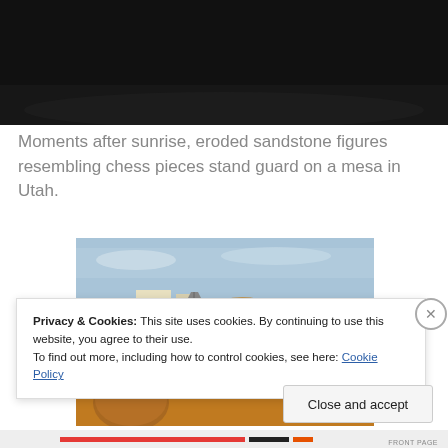[Figure (photo): Dark/black photo at top of page, partially visible, appears to be a landscape or night scene]
Moments after sunrise, eroded sandstone figures resembling chess pieces stand guard on a mesa in Utah.
[Figure (photo): Desert landscape with eroded sandstone formations, a person standing with arms outstretched in the middle distance, and structures on the hilltop. Sandy orange and brown tones with blue sky.]
Privacy & Cookies: This site uses cookies. By continuing to use this website, you agree to their use.
To find out more, including how to control cookies, see here: Cookie Policy
Close and accept
FRONT PAGE